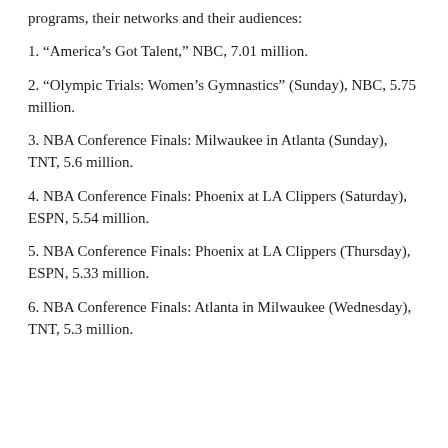programs, their networks and their audiences:
1. “America’s Got Talent,” NBC, 7.01 million.
2. “Olympic Trials: Women’s Gymnastics” (Sunday), NBC, 5.75 million.
3. NBA Conference Finals: Milwaukee in Atlanta (Sunday), TNT, 5.6 million.
4. NBA Conference Finals: Phoenix at LA Clippers (Saturday), ESPN, 5.54 million.
5. NBA Conference Finals: Phoenix at LA Clippers (Thursday), ESPN, 5.33 million.
6. NBA Conference Finals: Atlanta in Milwaukee (Wednesday), TNT, 5.3 million.